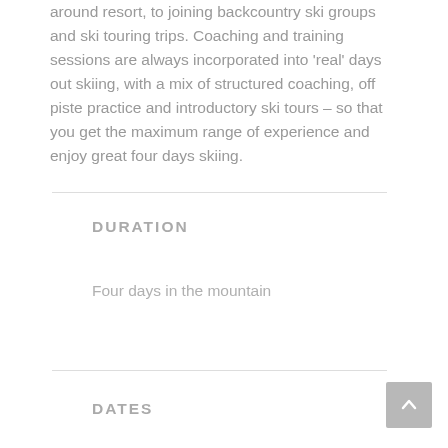around resort, to joining backcountry ski groups and ski touring trips. Coaching and training sessions are always incorporated into 'real' days out skiing, with a mix of structured coaching, off piste practice and introductory ski tours – so that you get the maximum range of experience and enjoy great four days skiing.
DURATION
Four days in the mountain
DATES